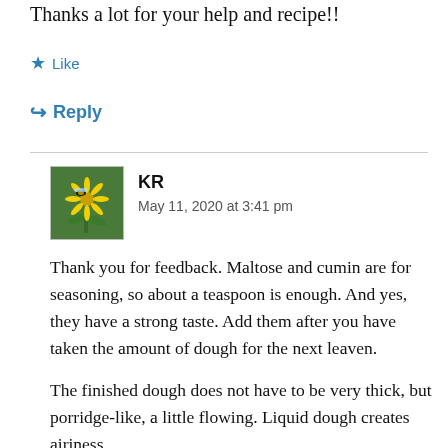Thanks a lot for your help and recipe!!
★ Like
↪ Reply
KR
May 11, 2020 at 3:41 pm
Thank you for feedback. Maltose and cumin are for seasoning, so about a teaspoon is enough. And yes, they have a strong taste. Add them after you have taken the amount of dough for the next leaven.
The finished dough does not have to be very thick, but porridge-like, a little flowing. Liquid dough creates airiness.